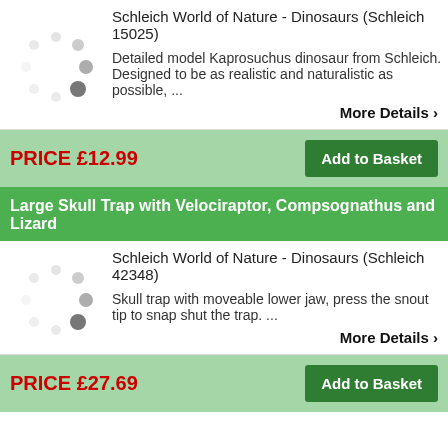Schleich World of Nature - Dinosaurs (Schleich 15025)
[Figure (illustration): Loading spinner dots placeholder image]
Detailed model Kaprosuchus dinosaur from Schleich. Designed to be as realistic and naturalistic as possible, ...
More Details ›
PRICE £12.99
Add to Basket
Large Skull Trap with Velociraptor, Compsognathus and Lizard
Schleich World of Nature - Dinosaurs (Schleich 42348)
[Figure (illustration): Loading spinner dots placeholder image]
Skull trap with moveable lower jaw, press the snout tip to snap shut the trap. ...
More Details ›
PRICE £27.69
Add to Basket